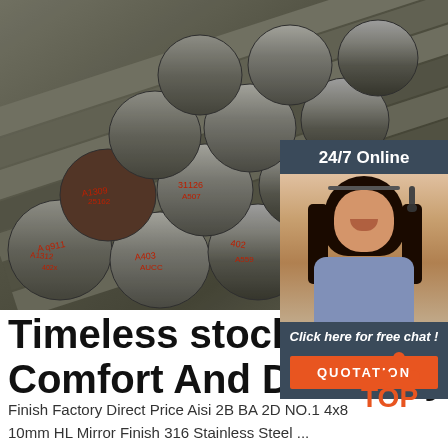[Figure (photo): Steel rods/bars stacked together, viewed from the ends, with red Chinese characters stamped on the ends. Dark metallic surface.]
24/7 Online
[Figure (photo): Customer service agent, woman with headset, smiling, wearing light blue shirt, dark hair.]
Click here for free chat !
QUOTATION
Timeless stock finish For Comfort And Durability -
Finish Factory Direct Price Aisi 2B BA 2D NO.1 4x8 10mm HL Mirror Finish 316 Stainless Steel ... Finish 2B Ba 201 202 304 410 430 Grade Mirror
[Figure (logo): TOP logo with orange/red dot triangle above the word TOP in orange]